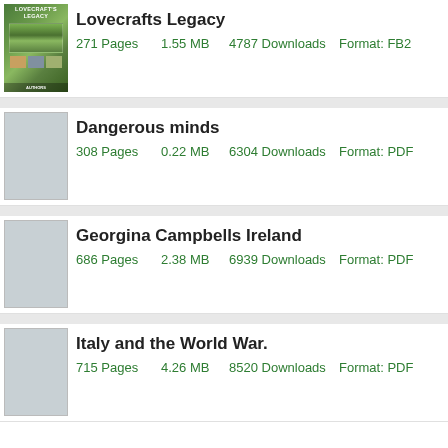Lovecrafts Legacy
271 Pages   1.55 MB   4787 Downloads   Format: FB2
Dangerous minds
308 Pages   0.22 MB   6304 Downloads   Format: PDF
Georgina Campbells Ireland
686 Pages   2.38 MB   6939 Downloads   Format: PDF
Italy and the World War.
715 Pages   4.26 MB   8520 Downloads   Format: PDF